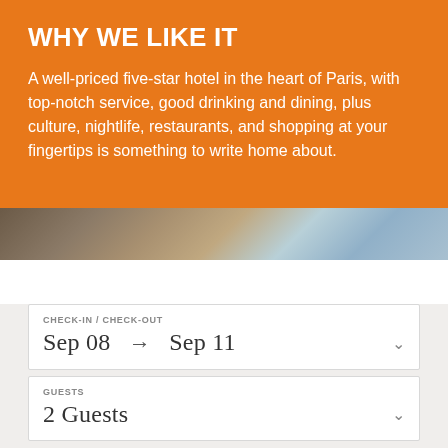WHY WE LIKE IT
A well-priced five-star hotel in the heart of Paris, with top-notch service, good drinking and dining, plus culture, nightlife, restaurants, and shopping at your fingertips is something to write home about.
[Figure (photo): Close-up photo of hotel-related items including what appears to be books or cards with orange accents]
CHECK-IN / CHECK-OUT
Sep 08  →  Sep 11
GUESTS
2 Guests
CHECK RATES